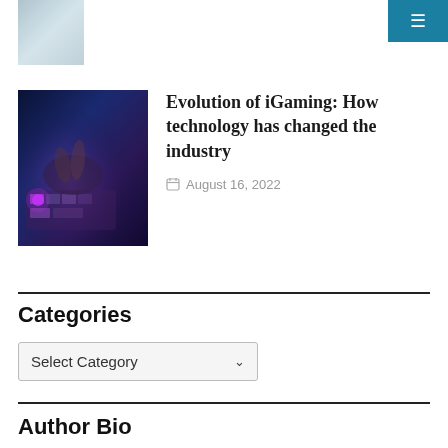[Figure (screenshot): Navigation hamburger menu button on teal/dark blue background, top right corner]
[Figure (photo): Partial cropped thumbnail image of a document or financial paper, top left]
[Figure (photo): Dark blue gaming scene thumbnail showing hands on keyboard with purple/blue lighting]
Evolution of iGaming: How technology has changed the industry
August 16, 2022
Categories
Select Category
Author Bio